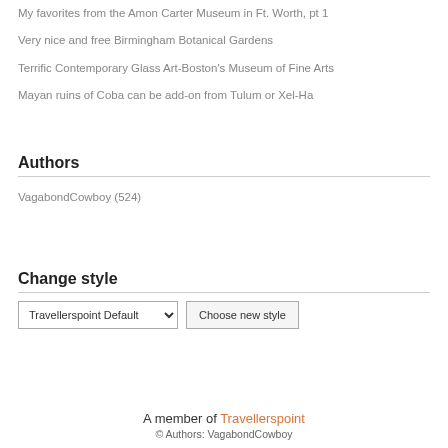My favorites from the Amon Carter Museum in Ft. Worth, pt 1
Very nice and free Birmingham Botanical Gardens
Terrific Contemporary Glass Art-Boston's Museum of Fine Arts
Mayan ruins of Coba can be add-on from Tulum or Xel-Ha
Authors
VagabondCowboy (524)
Change style
Travellerspoint Default | Choose new style
A member of Travellerspoint
© Authors: VagabondCowboy